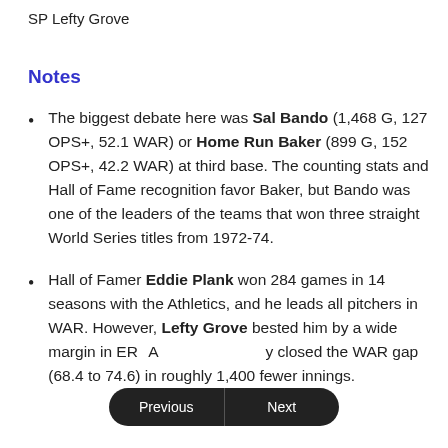SP Lefty Grove
Notes
The biggest debate here was Sal Bando (1,468 G, 127 OPS+, 52.1 WAR) or Home Run Baker (899 G, 152 OPS+, 42.2 WAR) at third base. The counting stats and Hall of Fame recognition favor Baker, but Bando was one of the leaders of the teams that won three straight World Series titles from 1972-74.
Hall of Famer Eddie Plank won 284 games in 14 seasons with the Athletics, and he leads all pitchers in WAR. However, Lefty Grove bested him by a wide margin in ER[A+] and [nearl]y closed the WAR gap (68.4 to 74.6) in roughly 1,400 fewer innings.